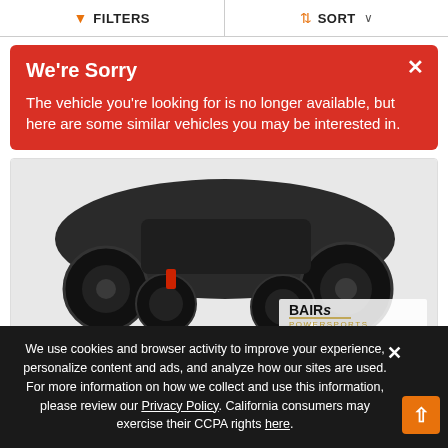FILTERS   SORT
We're Sorry
The vehicle you're looking for is no longer available, but here are some similar vehicles you may be interested in.
[Figure (photo): ATV/UTV vehicle shown from low angle with large off-road tires, BAIR's Powersports logo visible in bottom right]
New 2022 Polaris Sportsman 570
$10,599
We use cookies and browser activity to improve your experience, personalize content and ads, and analyze how our sites are used. For more information on how we collect and use this information, please review our Privacy Policy. California consumers may exercise their CCPA rights here.